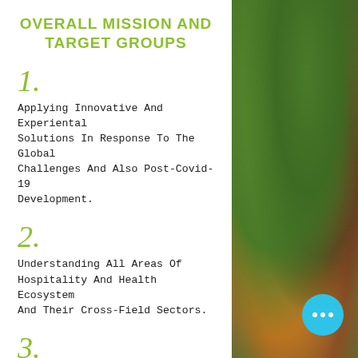OVERALL MISSION AND TARGET GROUPS
1.

Applying Innovative And Experiental Solutions In Response To The Global Challenges And Also Post-Covid-19 Development.
2.

Understanding All Areas Of Hospitality And Health Ecosystem And Their Cross-Field Sectors.
3.

The Philosophy Is To Use Kitche As Movers Across Business, Health,
[Figure (photo): Close-up photo of a colorful vegetable salad with green lettuce, purple cabbage, orange vegetables, and sprouts on the right side of the page.]